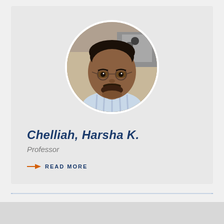[Figure (photo): Circular headshot photo of Professor Harsha K. Chelliah, a man with glasses and dark hair, smiling, wearing a light blue striped shirt, in a lab setting]
Chelliah, Harsha K.
Professor
READ MORE